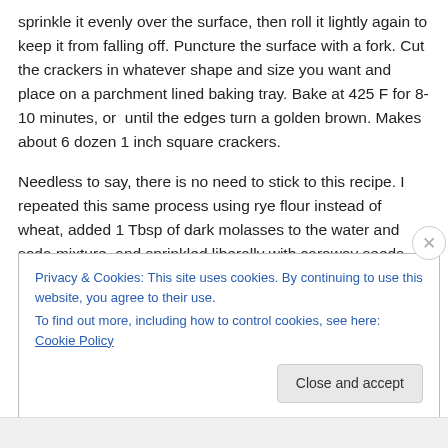sprinkle it evenly over the surface, then roll it lightly again to keep it from falling off. Puncture the surface with a fork. Cut the crackers in whatever shape and size you want and place on a parchment lined baking tray. Bake at 425 F for 8-10 minutes, or  until the edges turn a golden brown. Makes about 6 dozen 1 inch square crackers.
Needless to say, there is no need to stick to this recipe. I repeated this same process using rye flour instead of wheat, added 1 Tbsp of dark molasses to the water and soda mixture, and sprinkled liberally with caraway seeds
Privacy & Cookies: This site uses cookies. By continuing to use this website, you agree to their use.
To find out more, including how to control cookies, see here: Cookie Policy